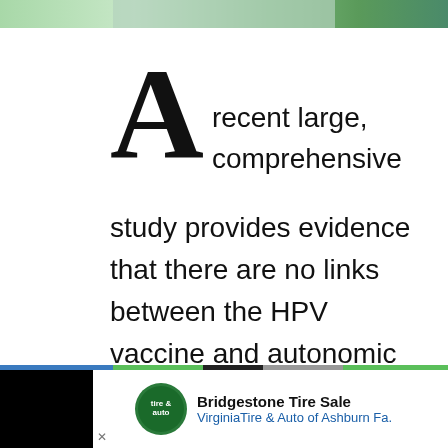[Figure (photo): Partial photo strip at top of page showing a green/teal colored background scene]
A recent large, comprehensive study provides evidence that there are no links between the HPV vaccine and autonomic dysfunction. Researchers keep looking for serious adverse events after individuals receive the
[Figure (infographic): Advertisement banner at bottom: Bridgestone Tire Sale - VirginiaTire & Auto of Ashburn Fa. with logo and blue arrow icon, on black background bar]